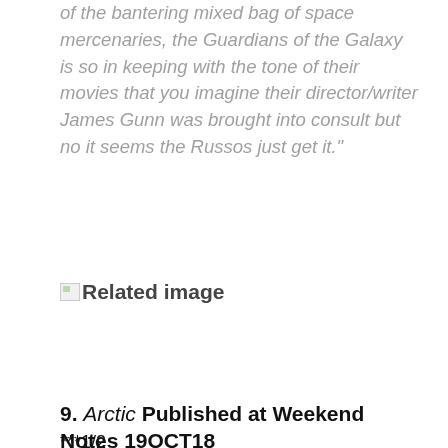of the bantering mixed bag of space mercenaries, the Guardians of the Galaxy is so in keeping with the tone of their movies that you imagine their director/writer James Gunn was brought into consult but no it seems the Russos just get it."
[Figure (other): Broken/missing image placeholder with text 'Related image']
9. Arctic Published at Weekend Notes 19OCT18
***1/2